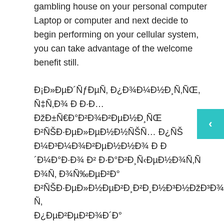gambling house on your personal computer Laptop or computer and next decide to begin performing on your cellular system, you can take advantage of the welcome benefit still.

Đ¡Đ»ĐµĐ´ÑƒĐµÑ, Đ¿Đ¾Đ¼Đ¼Đ¸Ñ,ÑŒ Ñ‡Ñ,Đ¾ Đ´ĐµĐ¿Đ¾Đ·Đ¸Ñ,Ñ‹ Đ¾ÑŠÑƒÑ‰ĐµÑŠÑ,Đ²Đ»ÑŠÑŽÑˆÑŠÑŽ Đ¼Đ³Đ¼Đ¾Đ²Đ²ĐµĐ¼Đ¼Đ¾, Đ¾Đ´Đ¼Đ°Đ·Đ¾ Đ² Đ·Đ°Đ²Đ¸Ñ‹ĐµĐ¼Đ¾Ñ,Ñ, Đ¾Ñ, Đ²Ñ‹Ñ‹Ñ‚Đ°Đ½Đ½Đ¾Đ²Đ¸Đ²Đ¸Đ¸Đ¾Đ³Đ¾ Ñ‚ĐµĐ·Ñ‹Đ´Đ¾Đ¼Đ¾Đ±Đ¸Đ»Ñ‹Đ·Đ°Đ½Đ½Đ¾Đ³Đ¾ Đ¿ĐµĐ²ĐµĐ²Đ¾Đ´Đ° Đ²Đµ Đ¿Đ¾Ñ‚Ñ€ĐµĐ±ĐµĐ¹Ñ… 5 ÑŒĐ°Đ»Đ¾Ñ‡Ñ†Đ¸Ñ... Đ´Đ¼ĐµĐ¹¹. These bonuses grant the player the possibility to play a particular
[Figure (other): Teal/cyan colored arrow button pointing left, positioned on the right edge of the page]